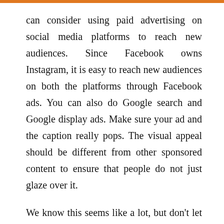can consider using paid advertising on social media platforms to reach new audiences. Since Facebook owns Instagram, it is easy to reach new audiences on both the platforms through Facebook ads. You can also do Google search and Google display ads. Make sure your ad and the caption really pops. The visual appeal should be different from other sponsored content to ensure that people do not just glaze over it.
We know this seems like a lot, but don't let it overwhelm you. Once you put a plan in place, small blocks for execution, be creative and inspiration from other authors on Instagram. You can